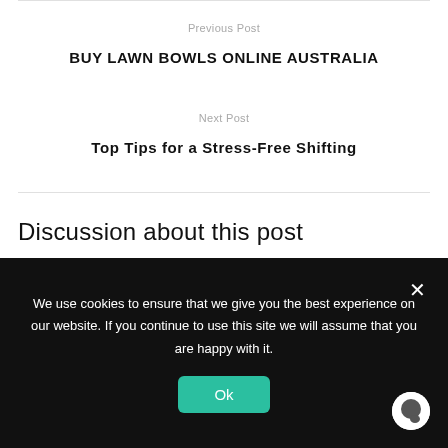Previous Post
BUY LAWN BOWLS ONLINE AUSTRALIA
Next Post
Top Tips for a Stress-Free Shifting
Discussion about this post
We use cookies to ensure that we give you the best experience on our website. If you continue to use this site we will assume that you are happy with it.